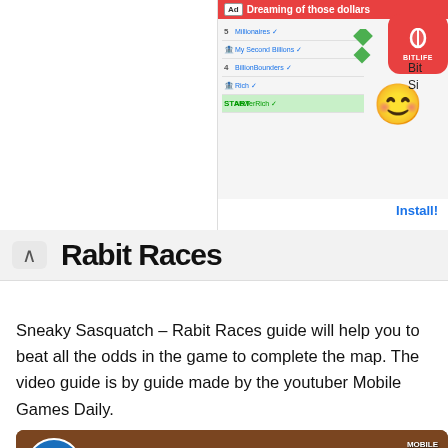[Figure (screenshot): Advertisement banner in top-right: red top bar 'Dreaming of those dollars', list of financial items, emoji face, BitLife app icon, Install! button]
Rabit Races (partial heading visible)
Sneaky Sasquatch – Rabit Races guide will help you to beat all the odds in the game to complete the map. The video guide is by guide made by the youtuber Mobile Games Daily.
[Figure (screenshot): YouTube video thumbnail for SNEAKY SASQUATCH Gameplay by Mobile Games Daily, showing game characters in a kitchen scene with a red YouTube play button overlay and number 12 in large white text]